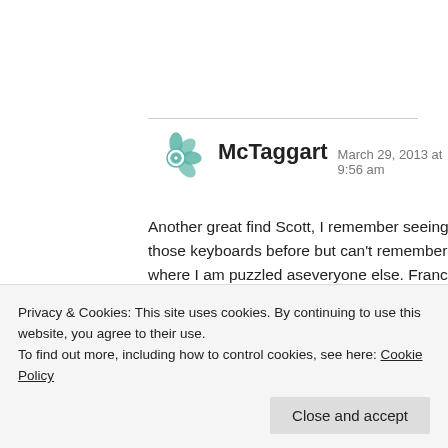[Figure (illustration): Teal/green decorative geometric floral avatar icon for user McTaggart]
McTaggart  March 29, 2013 at 9:56 am
Another great find Scott, I remember seeing those keyboards before but can't remember where I am puzzled aseveryone else. Franco Cozzo was a great character, especially his Brunsvik Footiscray!! he eventually added a "Norda" Melbourne to his chain of stores selling the most hideous furniture. Just goes to show people buy any thing if it is promoted properly. His son was the druggo and got done for dealing I think it shattered Franco...
Privacy & Cookies: This site uses cookies. By continuing to use this website, you agree to their use.
To find out more, including how to control cookies, see here: Cookie Policy
Close and accept